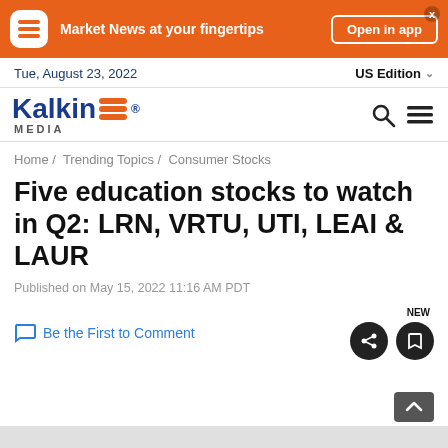[Figure (other): Orange banner with app icon, text 'Market News at your fingertips' and 'Open in app' button]
Tue, August 23, 2022   US Edition
[Figure (logo): Kalkine Media logo in blue and orange]
Home / Trending Topics / Consumer Stocks
Five education stocks to watch in Q2: LRN, VRTU, UTI, LEAI & LAUR
Published on May 15, 2022 11:16 AM PDT
Be the First to Comment